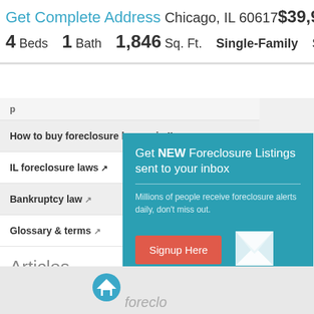Get Complete Address Chicago, IL 60617 $39,900
4 Beds  1 Bath  1,846 Sq. Ft.  Single-Family  Status: Active
How to buy foreclosure homes in IL
IL foreclosure laws
Bankruptcy law
Glossary & terms
Articles
How to buy a Foreclosure
Advantages of a
What is a HUD home
[Figure (screenshot): Teal popup overlay with title 'Get NEW Foreclosure Listings sent to your inbox', subtext 'Millions of people receive foreclosure alerts daily, don't miss out.', a red 'Signup Here' button, envelope icon, and 'No Thanks | Remind Me Later' links.]